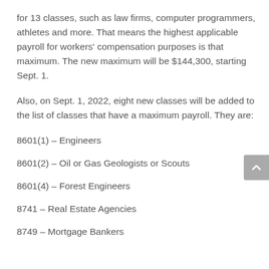for 13 classes, such as law firms, computer programmers, athletes and more. That means the highest applicable payroll for workers' compensation purposes is that maximum. The new maximum will be $144,300, starting Sept. 1.
Also, on Sept. 1, 2022, eight new classes will be added to the list of classes that have a maximum payroll. They are:
8601(1) – Engineers
8601(2) – Oil or Gas Geologists or Scouts
8601(4) – Forest Engineers
8741 – Real Estate Agencies
8749 – Mortgage Bankers